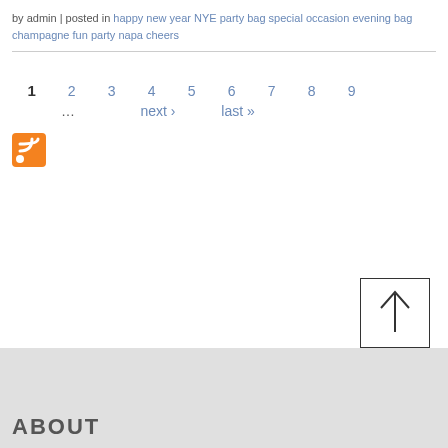by admin | posted in happy new year NYE party bag special occasion evening bag champagne fun party napa cheers
[Figure (infographic): RSS feed icon - orange square with white wifi/feed symbol]
1 2 3 4 5 6 7 8 9 … next › last »
[Figure (other): Back to top button - square with upward arrow]
ABOUT